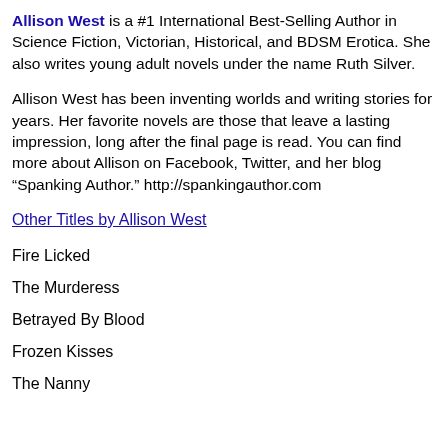Allison West is a #1 International Best-Selling Author in Science Fiction, Victorian, Historical, and BDSM Erotica. She also writes young adult novels under the name Ruth Silver.
Allison West has been inventing worlds and writing stories for years. Her favorite novels are those that leave a lasting impression, long after the final page is read. You can find more about Allison on Facebook, Twitter, and her blog “Spanking Author.” http://spankingauthor.com
Other Titles by Allison West
Fire Licked
The Murderess
Betrayed By Blood
Frozen Kisses
The Nanny